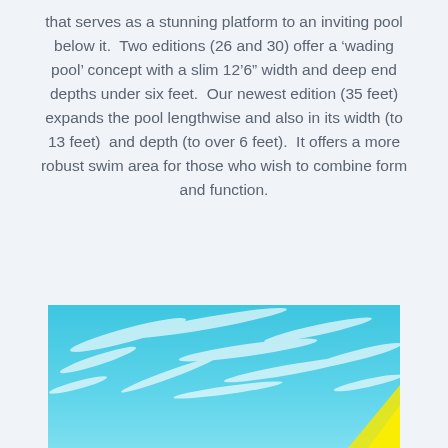that serves as a stunning platform to an inviting pool below it.  Two editions (26 and 30) offer a 'wading pool' concept with a slim 12'6" width and deep end depths under six feet.  Our newest edition (35 feet) expands the pool lengthwise and also in its width (to 13 feet)  and depth (to over 6 feet).  It offers a more robust swim area for those who wish to combine form and function.
[Figure (photo): Photo of a bright blue sky with wispy white clouds and a hint of yellow/green at the bottom right corner, likely an outdoor pool or landscape scene.]